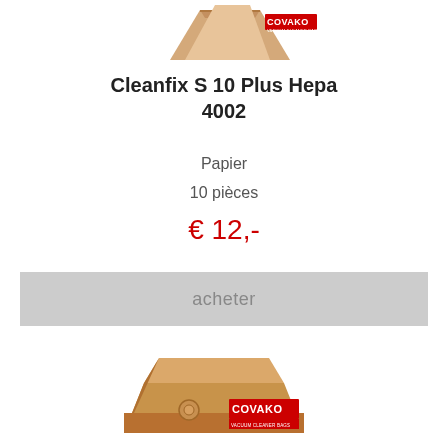[Figure (photo): Vacuum cleaner bag (paper) with COVAKO VACUUM CLEANER BAGS logo, top of page, partially visible]
Cleanfix S 10 Plus Hepa
4002
Papier
10 pièces
€ 12,-
acheter
[Figure (photo): Vacuum cleaner bag (paper) with COVAKO VACUUM CLEANER BAGS logo, lower portion of page]